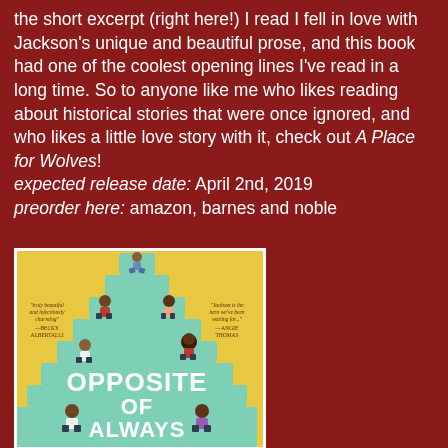the short excerpt (right here!) I read I fell in love with Jackson's unique and beautiful prose, and this book had one of the coolest opening lines I've read in a long time. So to anyone like me who likes reading about historical stories that were once ignored, and who likes a little love story with it, check out A Place for Wolves! expected release date: April 2nd, 2019 preorder here: amazon, barnes and noble
[Figure (illustration): Book cover of 'Opposite of Always' showing young people sitting on teal staircase steps against a yellow background, with white title text and blurbs from Becky Albertalli and Angie Thomas]